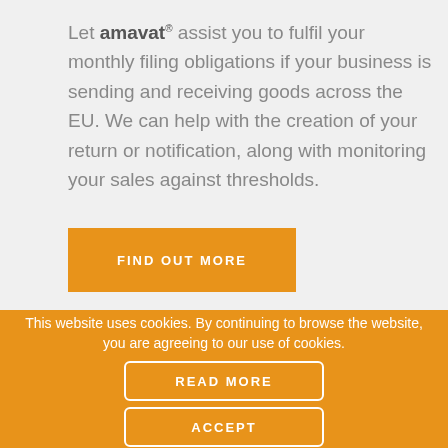Let amavat® assist you to fulfil your monthly filing obligations if your business is sending and receiving goods across the EU. We can help with the creation of your return or notification, along with monitoring your sales against thresholds.
FIND OUT MORE
This website uses cookies. By continuing to browse the website, you are agreeing to our use of cookies.
READ MORE
ACCEPT